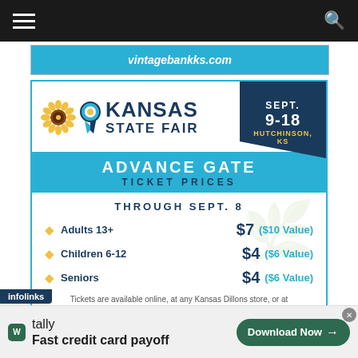Navigation bar with hamburger menu and search icon
[Figure (other): vintagebankks.com advertisement banner]
[Figure (infographic): Kansas State Fair advance gate ticket prices advertisement. Sept. 9-18, Hutchinson, KS. Adults 13+: $7 ($10 Value), Children 6-12: $4 ($6 Value), Seniors: $4 ($6 Value). Through Sept. 8. Tickets are available online, at any Kansas Dillons store, or at the KSF Ticket Office.]
infolinks | tally - Fast credit card payoff - Download Now